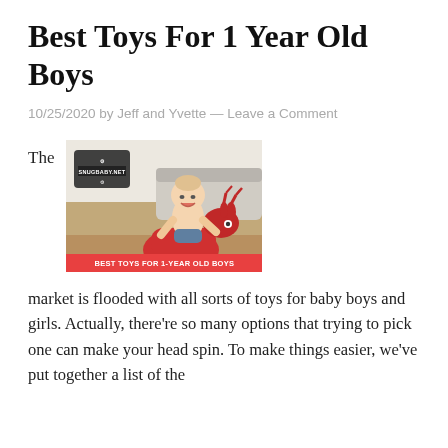Best Toys For 1 Year Old Boys
10/25/2020 by Jeff and Yvette — Leave a Comment
[Figure (photo): A smiling baby sitting on a red bouncy horse/deer toy, with a SNUGBABY.NET logo badge overlay and a red banner reading BEST TOYS FOR 1-YEAR OLD BOYS at the bottom.]
The market is flooded with all sorts of toys for baby boys and girls. Actually, there're so many options that trying to pick one can make your head spin. To make things easier, we've put together a list of the